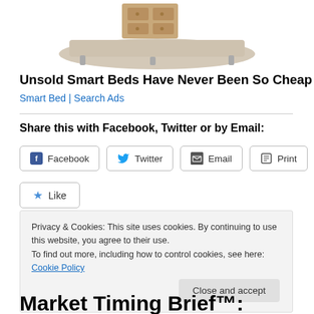[Figure (photo): Partial image of a smart bed with beige/tan upholstered headboard and a wooden drawer unit visible at the top of the page.]
Unsold Smart Beds Have Never Been So Cheap
Smart Bed | Search Ads
Share this with Facebook, Twitter or by Email:
Facebook  Twitter  Email  Print
Like
Privacy & Cookies: This site uses cookies. By continuing to use this website, you agree to their use.
To find out more, including how to control cookies, see here: Cookie Policy
Close and accept
Market Timing Brief™: